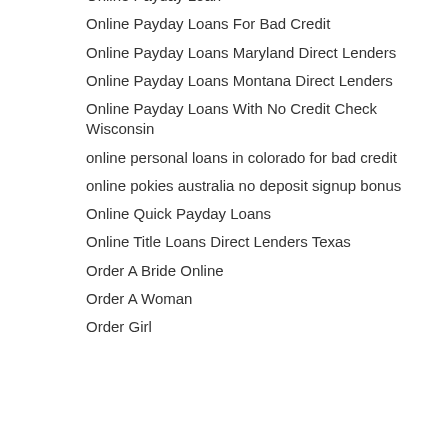Online Payday Loan
Online Payday Loans For Bad Credit
Online Payday Loans Maryland Direct Lenders
Online Payday Loans Montana Direct Lenders
Online Payday Loans With No Credit Check Wisconsin
online personal loans in colorado for bad credit
online pokies australia no deposit signup bonus
Online Quick Payday Loans
Online Title Loans Direct Lenders Texas
Order A Bride Online
Order A Woman
Order Girl